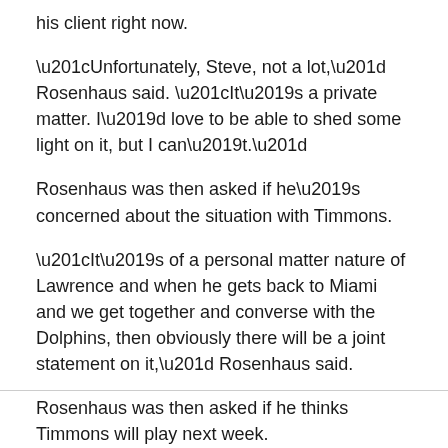his client right now.
“Unfortunately, Steve, not a lot,” Rosenhaus said. “It’s a private matter. I’d love to be able to shed some light on it, but I can’t.”
Rosenhaus was then asked if he’s concerned about the situation with Timmons.
“It’s of a personal matter nature of Lawrence and when he gets back to Miami and we get together and converse with the Dolphins, then obviously there will be a joint statement on it,” Rosenhaus said.
Rosenhaus was then asked if he thinks Timmons will play next week.